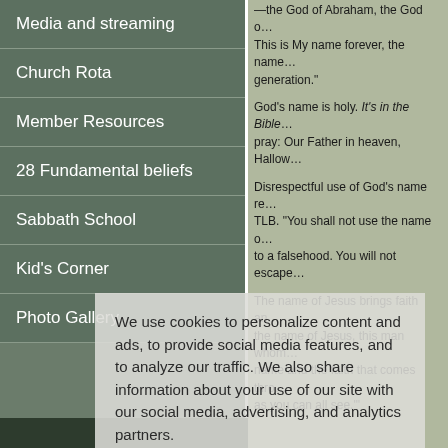Media and streaming
Church Rota
Member Resources
28 Fundamental beliefs
Sabbath School
Kid's Corner
Photo Gallery
—the God of Abraham, the God of… This is My name forever, the name… generation."
God's name is holy. It's in the Bible… pray: Our Father in heaven, Hallow…
Disrespectful use of God's name re… TLB. "You shall not use the name o… to a falsehood. You will not escape…
The name of Jesus brings faith an… the name of Jesus, this man whom… name and the faith that comes thro… as you can all see.'"
We use cookies to personalize content and ads, to provide social media features, and to analyze our traffic. We also share information about your use of our site with our social media, advertising, and analytics partners.
Cookie Settings
Accept All Cookies